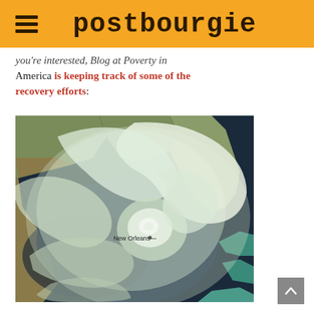postbourgie
you're interested, Blog at Poverty in America is keeping track of some of the recovery efforts:
[Figure (photo): Satellite image of Hurricane Katrina approaching the Gulf Coast of the United States, with New Orleans labeled near the eye of the storm. The image shows the swirling storm system over the Gulf of Mexico and southeastern US coastline.]